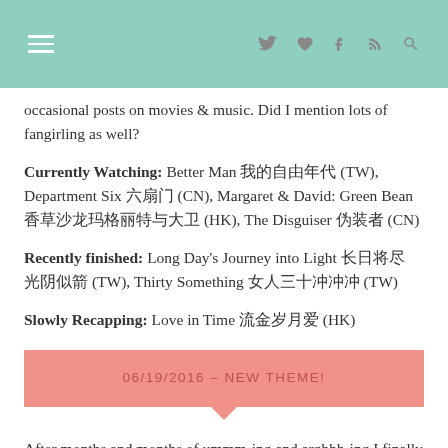Navigation header with menu icon and social icons: twitter, heart, tumblr, rss, search
occasional posts on movies & music. Did I mention lots of fangirling as well?
Currently Watching: Better Man 我的自由年代 (TW), Department Six 六扇门 (CN), Margaret & David: Green Bean 香草沙龙玛格丽特与大卫 (HK), The Disguiser 伪装者 (CN)
Recently finished: Long Day's Journey into Light 长日将尽 光阴似箭 (TW), Thirty Something 女人三十冲冲冲 (TW)
Slowly Recapping: Love in Time 流金岁月爱 (HK)
06/19/2016 – NEW THEME!
After months and months of ummm-ing and arghhh-ing I finally bit the bullet got a new theme! I hope the font is not too small to read. There're probably a